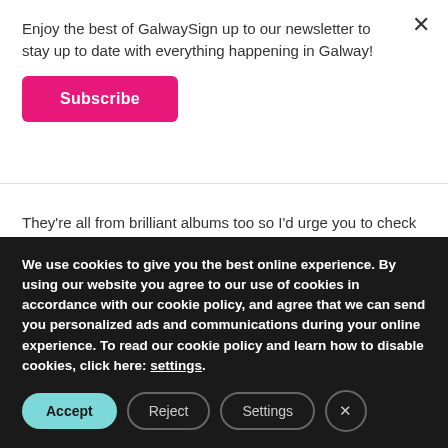Enjoy the best of GalwaySign up to our newsletter to stay up to date with everything happening in Galway!
Subscribe
They're all from brilliant albums too so I'd urge you to check the full releases, and the artists on them if they tickle your fancy!
....in no particular order...
We use cookies to give you the best online experience. By using our website you agree to our use of cookies in accordance with our cookie policy, and agree that we can send you personalized ads and communications during your online experience. To read our cookie policy and learn how to disable cookies, click here: settings.
Accept | Reject | Settings | X